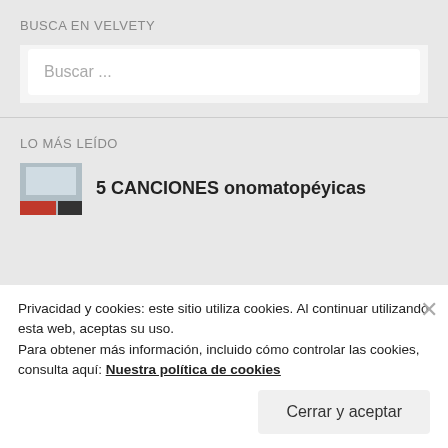BUSCA EN VELVETY
Buscar ...
LO MÁS LEÍDO
5 CANCIONES onomatopéyicas
Privacidad y cookies: este sitio utiliza cookies. Al continuar utilizando esta web, aceptas su uso.
Para obtener más información, incluido cómo controlar las cookies, consulta aquí: Nuestra política de cookies
Cerrar y aceptar